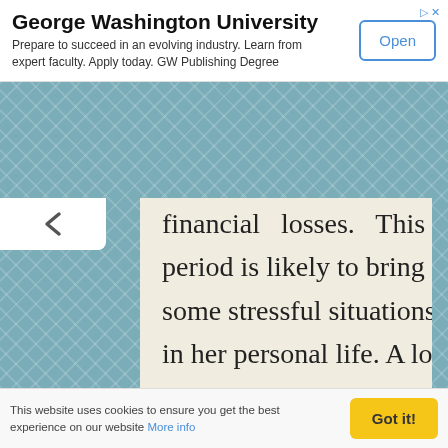George Washington University – Prepare to succeed in an evolving industry. Learn from expert faculty. Apply today. GW Publishing Degree
financial losses. This period is likely to bring some stressful situations in her personal life. A lot of patience and understanding will be needed in the last few months of the year, as there would be difference
This website uses cookies to ensure you get the best experience on our website More info  Got it!